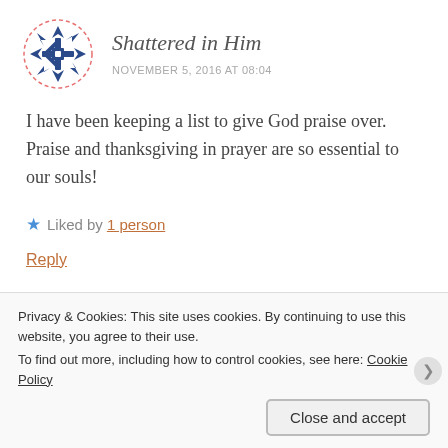[Figure (illustration): Circular avatar with dashed red border showing a blue geometric snowflake/quilt pattern on white background]
Shattered in Him
NOVEMBER 5, 2016 AT 08:04
I have been keeping a list to give God praise over. Praise and thanksgiving in prayer are so essential to our souls!
★ Liked by 1 person
Reply
[Figure (illustration): Circular avatar with dashed red border showing a black tree/snowflake illustration on white background]
Elihu
Privacy & Cookies: This site uses cookies. By continuing to use this website, you agree to their use.
To find out more, including how to control cookies, see here: Cookie Policy